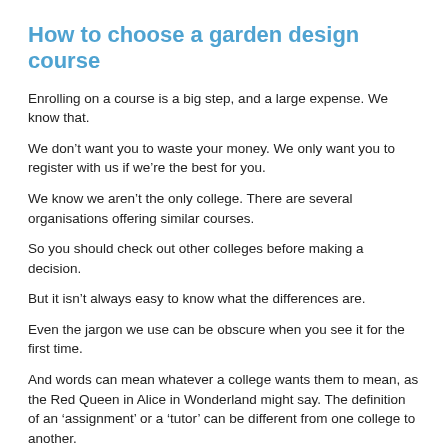How to choose a garden design course
Enrolling on a course is a big step, and a large expense. We know that.
We don’t want you to waste your money. We only want you to register with us if we’re the best for you.
We know we aren’t the only college. There are several organisations offering similar courses.
So you should check out other colleges before making a decision.
But it isn’t always easy to know what the differences are.
Even the jargon we use can be obscure when you see it for the first time.
And words can mean whatever a college wants them to mean, as the Red Queen in Alice in Wonderland might say. The definition of an ‘assignment’ or a ‘tutor’ can be different from one college to another.
And when you’ve made a choice, will the college live up to its claims and your expectations? Will the glossy website translate into a great course?
So we’ve listed several factors for you to consider.
We’ve also added a form you can download, personalise and print out. Click